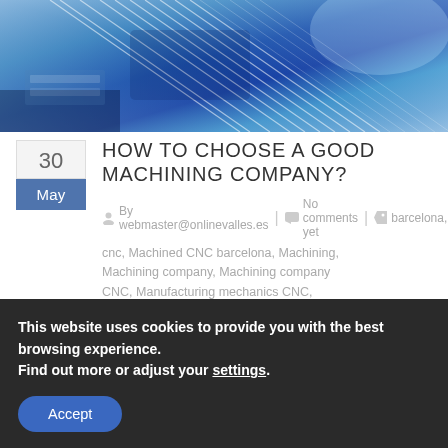[Figure (photo): Blue-tinted industrial/CNC machining abstract photo with motion blur effects, showing machinery and metallic components in blue and white tones]
HOW TO CHOOSE A GOOD MACHINING COMPANY?
By webmaster@onlinevalles.es | No comments yet | barcelona, cnc, Machined CNC barcelona, Machining, Machining company, Machining company CNC, Manufacturing mechanics CNC, Mechanized Barcelona, Mechanized CNC,
This website uses cookies to provide you with the best browsing experience.
Find out more or adjust your settings.
Accept